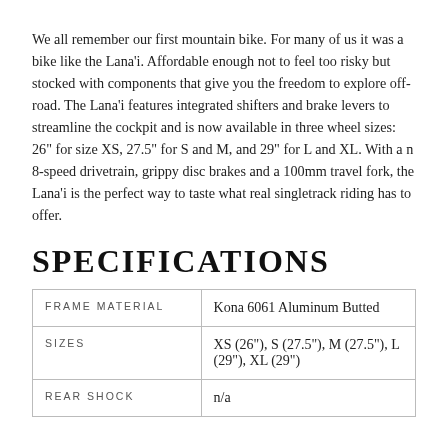We all remember our first mountain bike. For many of us it was a bike like the Lana'i. Affordable enough not to feel too risky but stocked with components that give you the freedom to explore off-road. The Lana'i features integrated shifters and brake levers to streamline the cockpit and is now available in three wheel sizes: 26" for size XS, 27.5" for S and M, and 29" for L and XL. With a n 8-speed drivetrain, grippy disc brakes and a 100mm travel fork, the Lana'i is the perfect way to taste what real singletrack riding has to offer.
SPECIFICATIONS
|  |  |
| --- | --- |
| FRAME MATERIAL | Kona 6061 Aluminum Butted |
| SIZES | XS (26"), S (27.5"), M (27.5"), L (29"), XL (29") |
| REAR SHOCK | n/a |